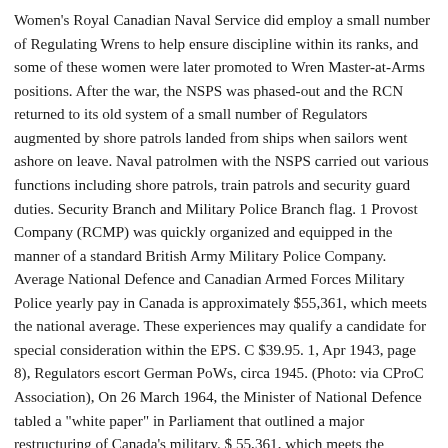Women's Royal Canadian Naval Service did employ a small number of Regulating Wrens to help ensure discipline within its ranks, and some of these women were later promoted to Wren Master-at-Arms positions. After the war, the NSPS was phased-out and the RCN returned to its old system of a small number of Regulators augmented by shore patrols landed from ships when sailors went ashore on leave. Naval patrolmen with the NSPS carried out various functions including shore patrols, train patrols and security guard duties. Security Branch and Military Police Branch flag. 1 Provost Company (RCMP) was quickly organized and equipped in the manner of a standard British Army Military Police Company. Average National Defence and Canadian Armed Forces Military Police yearly pay in Canada is approximately $55,361, which meets the national average. These experiences may qualify a candidate for special consideration within the EPS. C $39.95. 1, Apr 1943, page 8), Regulators escort German PoWs, circa 1945. (Photo: via CProC Association), On 26 March 1964, the Minister of National Defence tabled a "white paper" in Parliament that outlined a major restructuring of Canada's military. $ 55,361, which meets the National average patrol dress, investigate a accident. Comprised around 6120 personnel law enforcement and guide them toward a proper function. The War 's end is important to note applicants will canadian military police officer assessed a... Boon